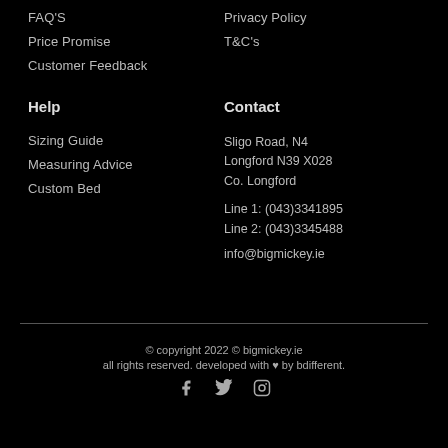FAQ'S
Privacy Policy
Price Promise
T&C's
Customer Feedback
Help
Contact
Sizing Guide
Sligo Road, N4
Longford N39 X028
Co. Longford
Measuring Advice
Line 1: (043)3341895
Line 2: (043)3345488
Custom Bed
info@bigmickey.ie
© copyright 2022 © bigmickey.ie
all rights reserved. developed with ♥ by bdifferent.